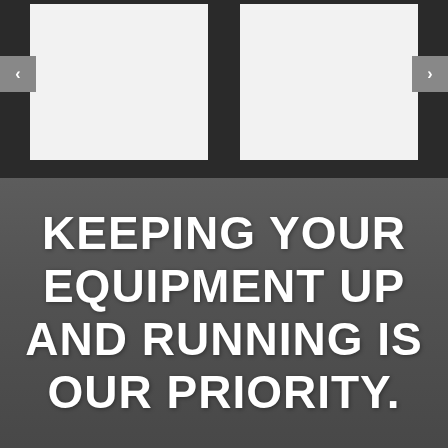[Figure (screenshot): Dark background UI carousel with two white card placeholders, left and right navigation arrow buttons]
KEEPING YOUR EQUIPMENT UP AND RUNNING IS OUR PRIORITY.